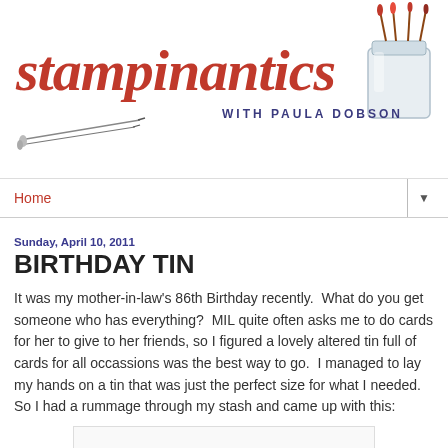[Figure (logo): Stampinantics with Paula Dobson blog header logo. Features the word 'stampinantics' in large red italic script font, subtitle 'WITH PAULA DOBSON' in dark blue small caps. Decorative paintbrushes on the left and a watercolor jar with brushes on the right.]
Home ▼
Sunday, April 10, 2011
BIRTHDAY TIN
It was my mother-in-law's 86th Birthday recently.  What do you get someone who has everything?  MIL quite often asks me to do cards for her to give to her friends, so I figured a lovely altered tin full of cards for all occassions was the best way to go.  I managed to lay my hands on a tin that was just the perfect size for what I needed.  So I had a rummage through my stash and came up with this:
[Figure (photo): Partially visible photograph of a decorated birthday tin at the bottom of the page.]